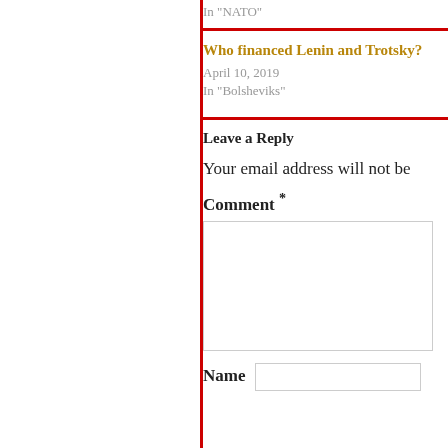In "NATO"
Who financed Lenin and Trotsky?
April 10, 2019
In "Bolsheviks"
Leave a Reply
Your email address will not be
Comment *
Name